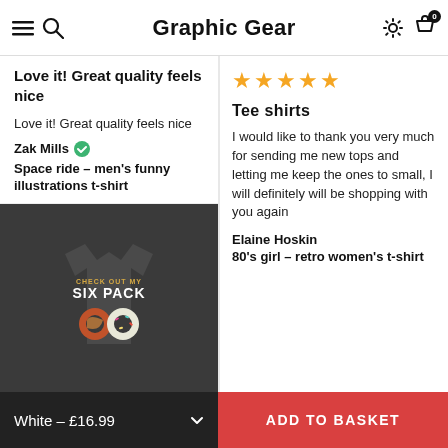Graphic Gear
Love it! Great quality feels nice
Love it! Great quality feels nice
Zak Mills
Space ride - men's funny illustrations t-shirt
[Figure (photo): Dark grey t-shirt with 'CHECK OUT MY SIX PACK' text and two donuts graphic]
[Figure (other): Five gold star rating]
Tee shirts
I would like to thank you very much for sending me new tops and letting me keep the ones to small, I will definitely will be shopping with you again
Elaine Hoskin
80's girl - retro women's t-shirt
White - £16.99  ADD TO BASKET